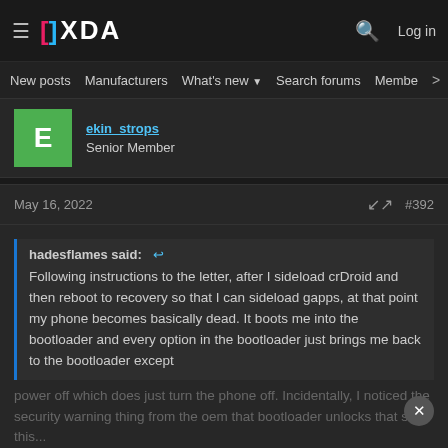XDA Forums — Navigation bar with logo, search, and login
New posts  Manufacturers  What's new  Search forums  Members  >
ekin_strops
Senior Member
May 16, 2022  #392
hadesflames said:
Following instructions to the letter, after I sideload crDroid and then reboot to recovery so that I can sideload gapps, at that point my phone becomes basically dead. It boots me into the bootloader and every option in the bootloader just brings me back to the bootloader except power off which does just turn the phone off. Incidentally, I noticed the security warning thing from the oem that bootloader unlocks that says this...
[Figure (screenshot): Disney Bundle advertisement banner showing Hulu, Disney+, ESPN+ logos with GET THE DISNEY BUNDLE call-to-action button]